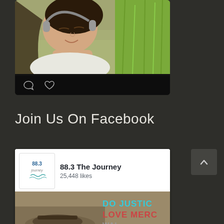[Figure (photo): Woman lying in grass wearing headphones, smiling with eyes closed, chin resting on hands. Social media card with comment and heart icons below.]
Join Us On Facebook
[Figure (screenshot): Facebook page widget for 88.3 The Journey with 25,448 likes. Shows cover image with 'DO JUSTICE LOVE MERCY WALK' text. Like Page and Share buttons visible. Below shows another view of the page with Facebook icon.]